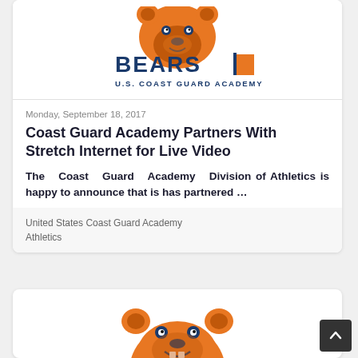[Figure (logo): U.S. Coast Guard Academy Bears logo — orange bear mascot above 'BEARS' text and 'U.S. COAST GUARD ACADEMY' text, with orange and blue colors]
Monday, September 18, 2017
Coast Guard Academy Partners With Stretch Internet for Live Video
The Coast Guard Academy Division of Athletics is happy to announce that is has partnered …
United States Coast Guard Academy Athletics
[Figure (logo): U.S. Coast Guard Academy Bears mascot head — orange bear face logo, partial view at bottom of page]